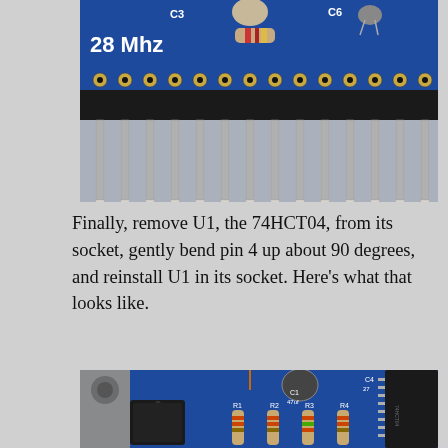[Figure (photo): Close-up photo of a blue PCB circuit board showing header pins in a row, with component labels C3 and C6 visible, and '28 Mhz' text. The board has multiple through-hole header pins extending downward.]
Finally, remove U1, the 74HCT04, from its socket, gently bend pin 4 up about 90 degrees, and reinstall U1 in its socket. Here's what that looks like.
[Figure (photo): Close-up photo of a blue PCB showing IC chips, capacitors (C1 47uf, C4 27), and resistors (R1, R2, R3, R4) arranged on the board. A DIP IC package is visible on the right side.]